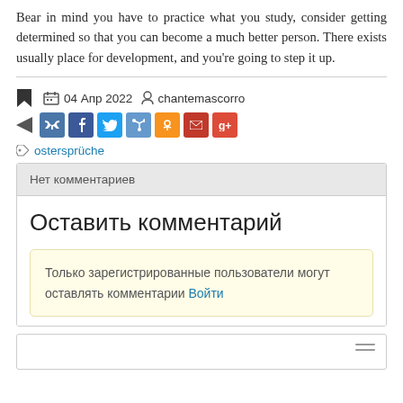Bear in mind you have to practice what you study, consider getting determined so that you can become a much better person. There exists usually place for development, and you're going to step it up.
04 Апр 2022   chantemascorro
ostersprüche
Нет комментариев
Оставить комментарий
Только зарегистрированные пользователи могут оставлять комментарии Войти